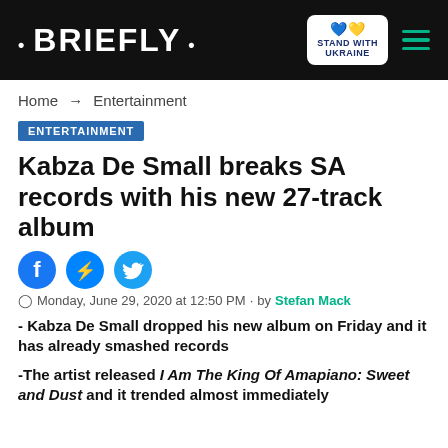• BRIEFLY •
Home → Entertainment
ENTERTAINMENT
Kabza De Small breaks SA records with his new 27-track album
Monday, June 29, 2020 at 12:50 PM · by Stefan Mack
- Kabza De Small dropped his new album on Friday and it has already smashed records
-The artist released I Am The King Of Amapiano: Sweet and Dust and it trended almost immediately